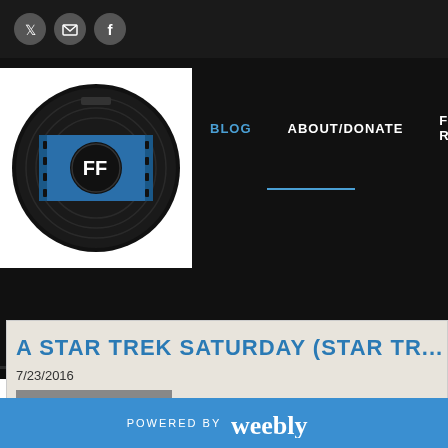Social bar with Twitter, Email, Facebook icons
[Figure (logo): Film Freak logo: black vinyl record with blue film strip frame containing FF initials in a circle]
BLOG | ABOUT/DONATE | FILMS REVIEWED
A STAR TREK SATURDAY (STAR TR...
7/23/2016
POWERED BY weebly